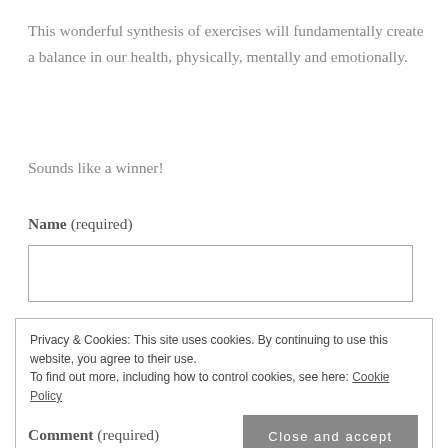This wonderful synthesis of exercises will fundamentally create a balance in our health, physically, mentally and emotionally.
Sounds like a winner!
Name (required)
Privacy & Cookies: This site uses cookies. By continuing to use this website, you agree to their use. To find out more, including how to control cookies, see here: Cookie Policy
Close and accept
Comment (required)